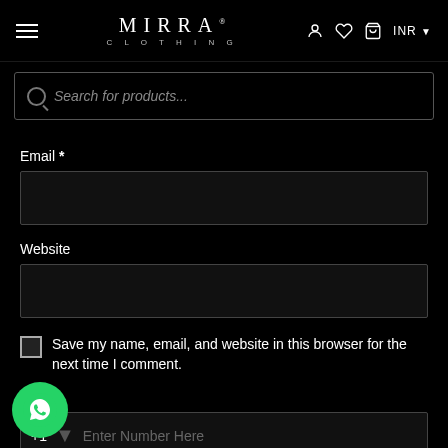MIRRA CLOTHING — navigation header with hamburger menu, logo, icons and INR currency selector
Search for products...
Email *
Website
Save my name, email, and website in this browser for the next time I comment.
ne*
+1  Enter Number Here
POST COMMENT
[Figure (logo): WhatsApp floating action button (green circle with phone handset icon)]